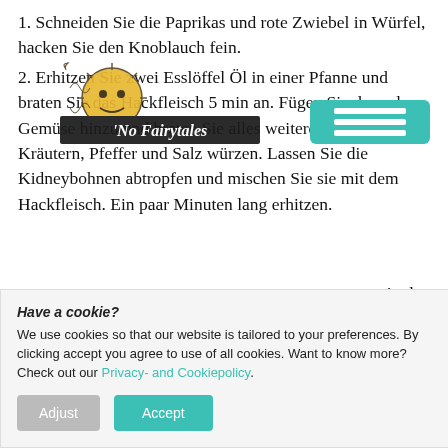1. Schneiden Sie die Paprikas und rote Zwiebel in Würfel, hacken Sie den Knoblauch fein.
2. Erhitzen Sie zwei Esslöffel Öl in einer Pfanne und braten Sie das Hackfleisch 5 min an. Fügen Sie dann das Gemüse hinzu und braten Sie alles weitere 5 min. Mit den Kräutern, Pfeffer und Salz würzen. Lassen Sie die Kidneybohnen abtropfen und mischen Sie sie mit dem Hackfleisch. Ein paar Minuten lang erhitzen.
[Figure (logo): No Fairytales logo with decorative sun face illustration]
ng in den ber und nd mischen e fraîche.
Have a cookie? We use cookies so that our website is tailored to your preferences. By clicking accept you agree to use of all cookies. Want to know more? Check out our Privacy- and Cookiepolicy.